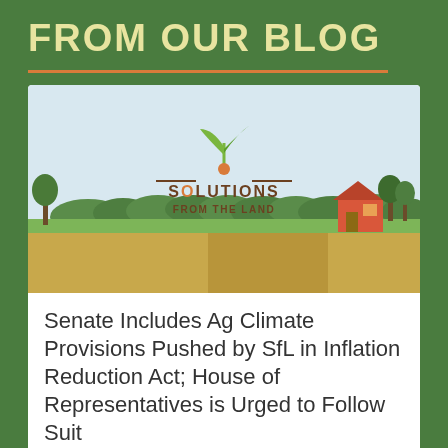FROM OUR BLOG
[Figure (illustration): Solutions from the Land logo and illustrated rural landscape with green fields, trees, and farmhouse under a light blue sky]
Senate Includes Ag Climate Provisions Pushed by SfL in Inflation Reduction Act; House of Representatives is Urged to Follow Suit